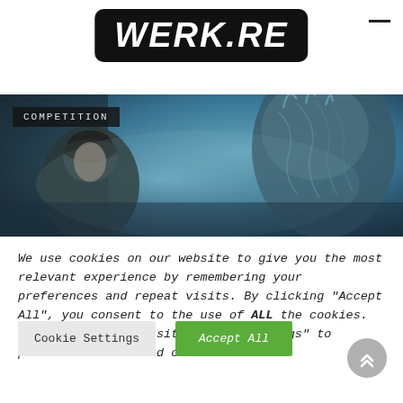[Figure (logo): WERK.RE logo in white bold italic text on black rounded rectangle background]
[Figure (photo): Dark sci-fi banner image showing a soldier facing an alien creature, with COMPETITION label overlay]
We use cookies on our website to give you the most relevant experience by remembering your preferences and repeat visits. By clicking “Accept All”, you consent to the use of ALL the cookies. However, you may visit “Cookie Settings” to provide a controlled consent.